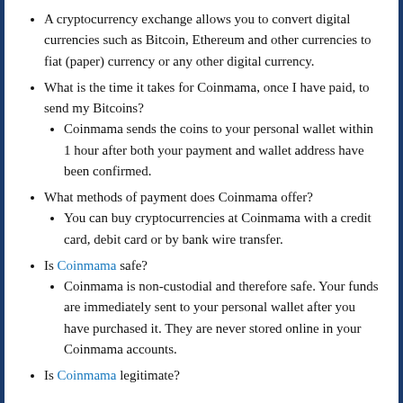A cryptocurrency exchange allows you to convert digital currencies such as Bitcoin, Ethereum and other currencies to fiat (paper) currency or any other digital currency.
What is the time it takes for Coinmama, once I have paid, to send my Bitcoins?
Coinmama sends the coins to your personal wallet within 1 hour after both your payment and wallet address have been confirmed.
What methods of payment does Coinmama offer?
You can buy cryptocurrencies at Coinmama with a credit card, debit card or by bank wire transfer.
Is Coinmama safe?
Coinmama is non-custodial and therefore safe. Your funds are immediately sent to your personal wallet after you have purchased it. They are never stored online in your Coinmama accounts.
Is Coinmama legitimate?